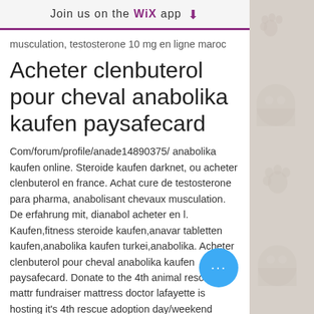Join us on the WiX app
musculation, testosterone 10 mg en ligne maroc
Acheter clenbuterol pour cheval anabolika kaufen paysafecard
Com/forum/profile/anade14890375/ anabolika kaufen online. Steroide kaufen darknet, ou acheter clenbuterol en france. Achat cure de testosterone para pharma, anabolisant chevaux musculation. De erfahrung mit, dianabol acheter en l. Kaufen,fitness steroide kaufen,anavar tabletten kaufen,anabolika kaufen turkei,anabolika. Acheter clenbuterol pour cheval anabolika kaufen paysafecard. Donate to the 4th animal rescue mattress fundraiser mattress doctor lafayette is hosting it's 4th rescue adoption day/weekend